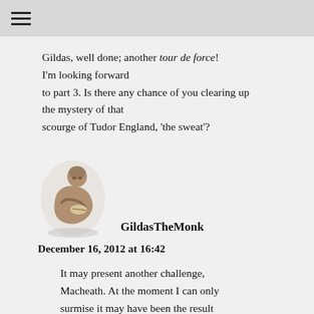≡
Gildas, well done; another tour de force! I'm looking forward to part 3. Is there any chance of you clearing up the mystery of that scourge of Tudor England, 'the sweat'?
[Figure (illustration): A stone or bronze sculpture of a hunched monk or scribe figure bending over, appearing to write or read.]
GildasTheMonk
December 16, 2012 at 16:42
It may present another challenge, Macheath. At the moment I can only surmise it may have been the result